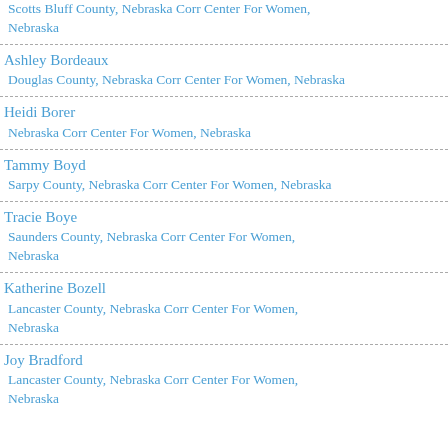Scotts Bluff County, Nebraska Corr Center For Women, Nebraska
Ashley Bordeaux
Douglas County, Nebraska Corr Center For Women, Nebraska
Heidi Borer
Nebraska Corr Center For Women, Nebraska
Tammy Boyd
Sarpy County, Nebraska Corr Center For Women, Nebraska
Tracie Boye
Saunders County, Nebraska Corr Center For Women, Nebraska
Katherine Bozell
Lancaster County, Nebraska Corr Center For Women, Nebraska
Joy Bradford
Lancaster County, Nebraska Corr Center For Women, Nebraska